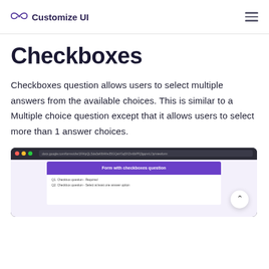Customize UI
Checkboxes
Checkboxes question allows users to select multiple answers from the available choices. This is similar to a Multiple choice question except that it allows users to select more than 1 answer choices.
[Figure (screenshot): Screenshot of a browser showing a Google Form with checkboxes question titled 'Form with checkboxes question']